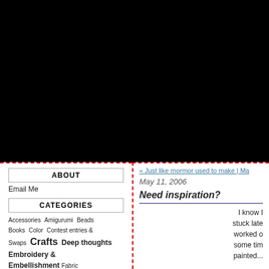[Figure (photo): Black banner area at top of blog page]
ABOUT
Email Me
CATEGORIES
Accessories  Amigurumi  Beads  Books  Color  Contest entries & Swaps  Crafts  Deep thoughts  Embroidery & Embellishment  Fabric Book  Fabric in general  Fabric Post
« Just like mormor used to make | Ma
May 11, 2006
Need inspiration?
I know I  stuck late  worked o  some tim  painted...